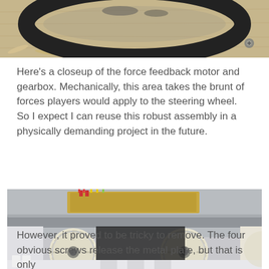[Figure (photo): Closeup of a black steering wheel on a wooden surface with debris/shavings around it]
Here's a closeup of the force feedback motor and gearbox. Mechanically, this area takes the brunt of forces players would apply to the steering wheel. So I expect I can reuse this robust assembly in a physically demanding project in the future.
[Figure (photo): Interior view of a force feedback gearbox assembly showing white plastic gears, circuit board with wires (red, yellow, green), gray plastic housing and mounting tabs]
However, it proved to be tricky to remove. The four obvious screws release the metal plate, but that is only